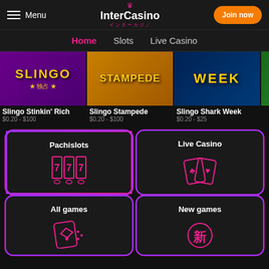Menu | InterCasino インターカジノ | Join now
Home  Slots  Live Casino
[Figure (screenshot): Slingo Stinkin Rich game thumbnail - purple background with gold text and coins]
Slingo Stinkin' Rich
$0.20 - $100
[Figure (screenshot): Slingo Stampede game thumbnail - golden/amber background with STAMPEDE text]
Slingo Stampede
$0.20 - $100
[Figure (screenshot): Slingo Shark Week game thumbnail - dark blue ocean background with WEEK text]
Slingo Shark Week
$0.20 - $25
[Figure (screenshot): Pachislots category card with slot machine 777 icon, purple/pink gradient border]
Pachislots
[Figure (screenshot): Live Casino category card with playing cards icon, purple/pink gradient border]
Live Casino
[Figure (screenshot): All games category card with card and dice icon, purple/pink gradient border]
All games
[Figure (screenshot): New games category card with Japanese 新 character icon, purple/pink gradient border]
New games